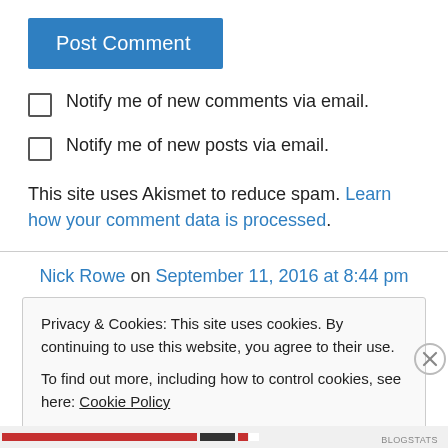Post Comment
Notify me of new comments via email.
Notify me of new posts via email.
This site uses Akismet to reduce spam. Learn how your comment data is processed.
Nick Rowe on September 11, 2016 at 8:44 pm
Privacy & Cookies: This site uses cookies. By continuing to use this website, you agree to their use.
To find out more, including how to control cookies, see here: Cookie Policy
Close and accept